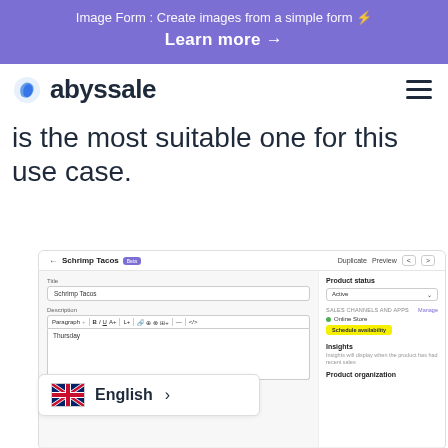Image Form : Create images from a simple form ⚡
Learn more →
[Figure (logo): Abyssale logo with blue shield/leaf icon and dark text 'abyssale']
is the most suitable one for this use case.
[Figure (screenshot): Screenshot of Abyssale product editor UI showing 'Schrimp Tacos' product page with title field, description editor with toolbar, and sidebar showing Product status (Active), Sales Channels, Online Store with Schedule availability button highlighted in yellow, and Insights section]
[Figure (other): English language selector widget with UK flag, 'English' text and arrow]